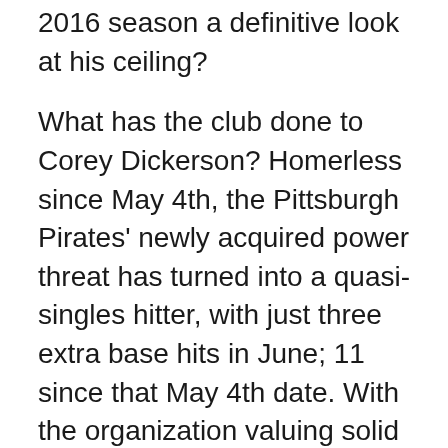2016 season a definitive look at his ceiling?
What has the club done to Corey Dickerson? Homerless since May 4th, the Pittsburgh Pirates' newly acquired power threat has turned into a quasi-singles hitter, with just three extra base hits in June; 11 since that May 4th date. With the organization valuing solid contact over selling out for power, they seem to have completely neutered the veteran.
Can Joe Musgrove stick as a starter? General manager Neal Huntington threw his weight behind sticking with Musgrove as a starter. That is the right move, in my opinion, as a fully realized Musgrove in the rotation for the next five years would put the club in good position to lay claim to getting a good return for Gerrit Cole. Right now, however, hitters are having no problem swinging away on the “hittable pitch”